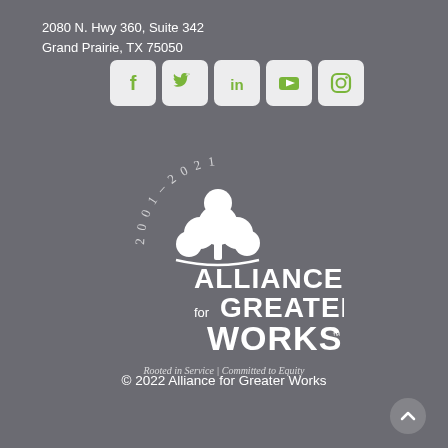2080 N. Hwy 360, Suite 342
Grand Prairie, TX 75050
[Figure (infographic): Five social media icons in rounded white square boxes: Facebook (f), Twitter (bird), LinkedIn (in), YouTube (play button), Instagram (camera)]
[Figure (logo): Alliance for Greater Works logo — a white tree with green circular arc text '2001–2021' above, large text 'ALLIANCE for GREATER WORKS' below, tagline 'Rooted in Service | Committed to Equity']
© 2022 Alliance for Greater Works